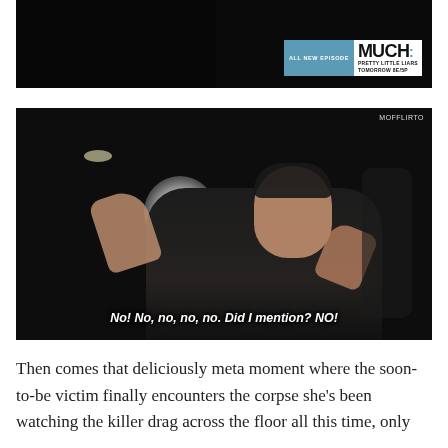[Figure (screenshot): Dark television screenshot showing a silhouetted figure, with a channel overlay badge reading 'ALL NEW EPISODE MUCH: PRETTY LITTLE LIARS TOMORROW 8E/5P']
[Figure (screenshot): Dark screenshot of a man in a leather jacket with hands raised dramatically. Subtitle text reads: 'No! No, no, no, no. Did I mention? NO!' Watermark reads 'MOFFLIRTO' in top right corner.]
Then comes that deliciously meta moment where the soon-to-be victim finally encounters the corpse she's been watching the killer drag across the floor all this time, only